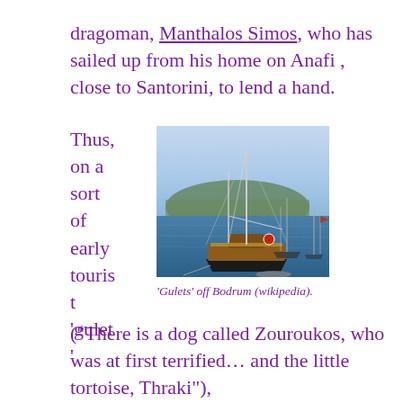dragoman, Manthalos Simos, who has sailed up from his home on Anafi , close to Santorini, to lend a hand.
Thus, on a sort of early tourist 'gulet' cruise
[Figure (photo): Photograph of gulets (traditional wooden sailing boats) anchored off Bodrum, with masts visible against a blue sky and hills in the background.]
'Gulets' off Bodrum (wikipedia).
("There is a dog called Zouroukos, who was at first terrified… and the little tortoise, Thraki"),